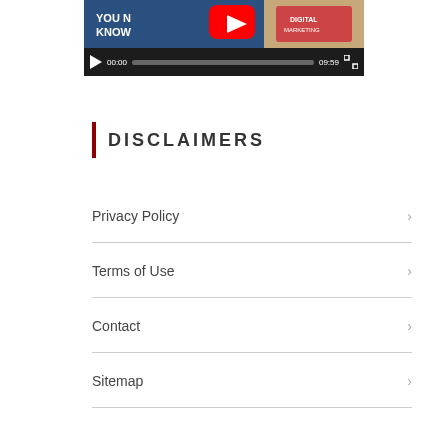[Figure (screenshot): YouTube video player screenshot showing video controls with play button, 00:00 timestamp, progress bar, 09:59 duration, and fullscreen button on dark background]
DISCLAIMERS
Privacy Policy
Terms of Use
Contact
Sitemap